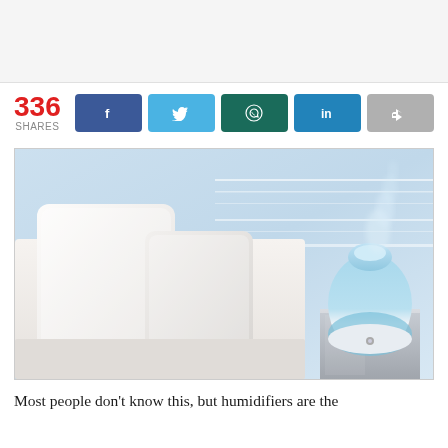[Figure (other): Advertisement banner area, light gray background]
336 SHARES
[Figure (photo): Photo of a bedroom with white sofa and pillows, and a round blue/clear humidifier on a nightstand emitting steam, light blue wall background]
Most people don't know this, but humidifiers are the